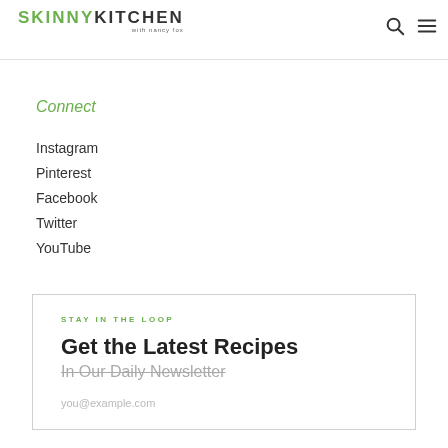SKINNY KITCHEN with nancy fox
Connect
Instagram
Pinterest
Facebook
Twitter
YouTube
STAY IN THE LOOP
Get the Latest Recipes
In Our Daily Newsletter
you@example.com